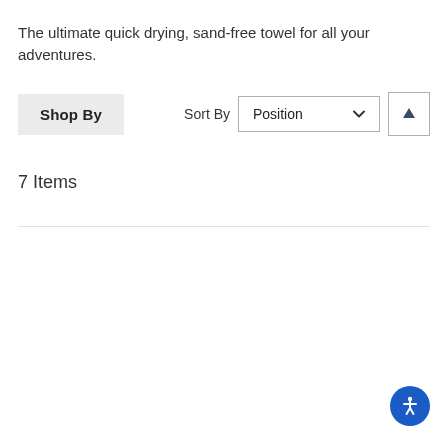The ultimate quick drying, sand-free towel for all your adventures.
[Figure (screenshot): Shop By button, Sort By label with Position dropdown and sort direction button]
7 Items
[Figure (other): Accessibility icon button (person in circle) in blue, bottom right corner]